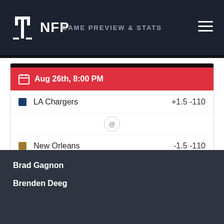NFP — GAME PREVIEW & STATS
Aug 26th, 8:00 PM
| Team | Odds |
| --- | --- |
| LA Chargers | +1.5 -110 |
| New Orleans | -1.5 -110 |
GAME PREVIEW & STATS
SEE MORE
Brad Gagnon
Brenden Deeg